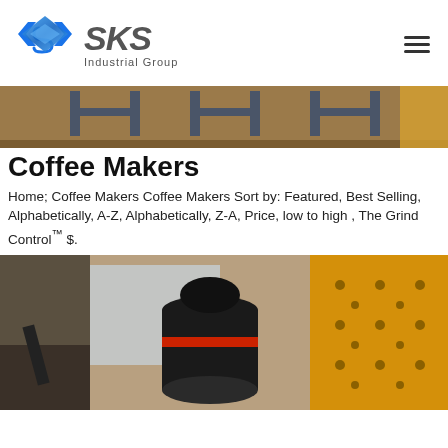[Figure (logo): SKS Industrial Group logo with blue diamond/arrow icon and gray SKS text with Industrial Group subtitle]
[Figure (photo): Industrial machinery or metal fabrication equipment with large dark metal H-frames on a wooden surface]
Coffee Makers
Home; Coffee Makers Coffee Makers Sort by: Featured, Best Selling, Alphabetically, A-Z, Alphabetically, Z-A, Price, low to high , The Grind Control™ $.
[Figure (photo): Industrial cone crusher machine (black with red band) next to yellow heavy equipment component with bolt holes]